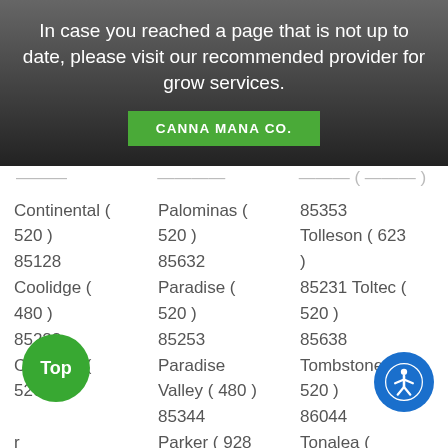In case you reached a page that is not up to date, please visit our recommended provider for grow services.
CANNA MANA CO.
Continental ( 520 ) 85128 | Palominas ( 520 ) 85632 | 85353 Tolleson ( 623 ) | Coolidge ( 480 ) 85228 | Paradise ( 520 ) 85253 | 85231 Toltec ( 520 ) 85638 | Coolidge ( 520 ) | Paradise Valley ( 480 ) 85344 | Tombstone ( 520 ) 86044 | r | Parker ( 928 | Tonalea ( | Queen ( 520 ) )